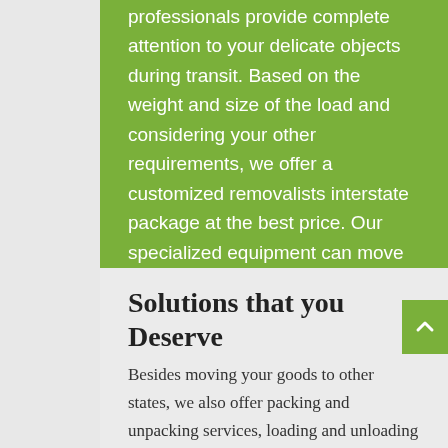professionals provide complete attention to your delicate objects during transit. Based on the weight and size of the load and considering your other requirements, we offer a customized removalists interstate package at the best price. Our specialized equipment can move your furniture and heavy items easily from staircases.
Solutions that you Deserve
Besides moving your goods to other states, we also offer packing and unpacking services, loading and unloading services. We can customize our Townsville to Temora move as